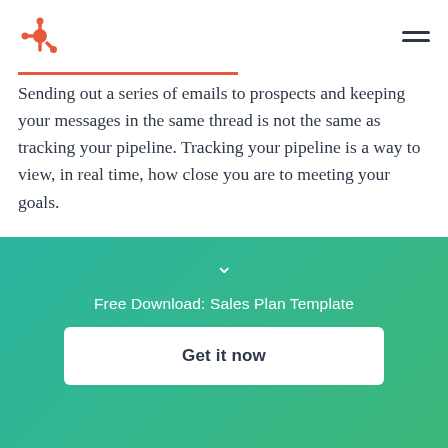HubSpot logo and navigation menu
Sending out a series of emails to prospects and keeping your messages in the same thread is not the same as tracking your pipeline. Tracking your pipeline is a way to view, in real time, how close you are to meeting your goals.
To do this effectively, start with a sales software that you can use to track each prospect through the entire
[Figure (other): Teal to green gradient banner with chevron down arrow, 'Free Download: Sales Plan Template' text, and a 'Get it now' white button]